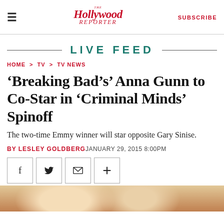The Hollywood Reporter | SUBSCRIBE
LIVE FEED
HOME > TV > TV NEWS
'Breaking Bad's' Anna Gunn to Co-Star in 'Criminal Minds' Spinoff
The two-time Emmy winner will star opposite Gary Sinise.
BY LESLEY GOLDBERG JANUARY 29, 2015 8:00PM
[Figure (other): Social sharing buttons: Facebook, Twitter, Email, Plus]
[Figure (photo): Bottom photo strip showing a person (Anna Gunn)]